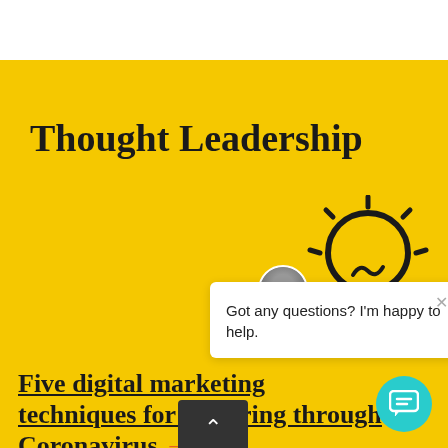Thought Leadership
[Figure (illustration): Light bulb icon with rays indicating ideas/thought leadership, drawn in black outline style on yellow background]
[Figure (screenshot): Chat widget popup with avatar of a woman, close button (x), and text: Got any questions? I'm happy to help.]
Five digital marketing techniques for powering through Coronavirus →